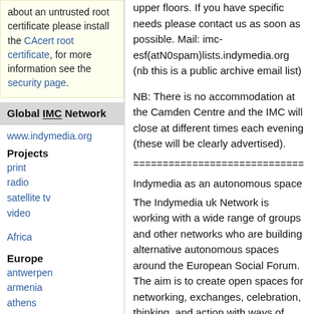about an untrusted root certificate please install the CAcert root certificate, for more information see the security page.
Global IMC Network
www.indymedia.org
Projects
print
radio
satellite tv
video
Africa
Europe
antwerpen
armenia
athens
austria
barcelona
upper floors. If you have specific needs please contact us as soon as possible. Mail: imc-esf(atN0spam)lists.indymedia.org (nb this is a public archive email list)
NB: There is no accommodation at the Camden Centre and the IMC will close at different times each evening (these will be clearly advertised).
=============================
Indymedia as an autonomous space
The Indymedia uk Network is working with a wide range of groups and other networks who are building alternative autonomous spaces around the European Social Forum. The aim is to create open spaces for networking, exchanges, celebration, thinking, and action with ways of organising and acting that reflect our political visions, and that are united in standing for grassroots self-organisation, for